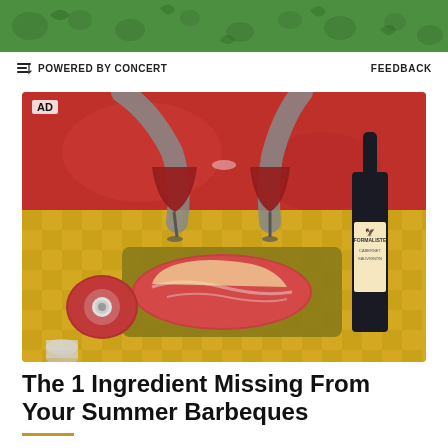[Figure (illustration): Green decorative banner with food/vegetable motifs]
POWERED BY CONCERT    FEEDBACK
[Figure (photo): Advertisement image showing two hands clinking wine glasses over a tray of raw steak on a yellow checkered tablecloth, with a wine bottle on the right and a round meat patty on the left. Red background top portion. 'AD' label in top left.]
The 1 Ingredient Missing From Your Summer Barbeques
READ MORE ON EATER »